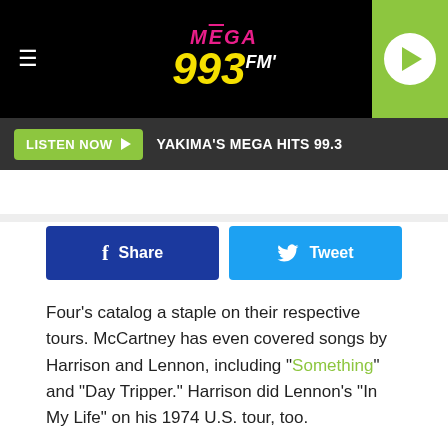MEGA 993 FM — YAKIMA'S MEGA HITS 99.3
LISTEN NOW ▶   YAKIMA'S MEGA HITS 99.3
Share   Tweet
Four's catalog a staple on their respective tours. McCartney has even covered songs by Harrison and Lennon, including "Something" and "Day Tripper." Harrison did Lennon's "In My Life" on his 1974 U.S. tour, too.
Adell lays out | FastCast
[Figure (screenshot): Baseball video thumbnail showing MLB.com footage of a player laid out on the field in red uniform and two players in green Oakland A's uniforms. A circular play button is centered on the image.]